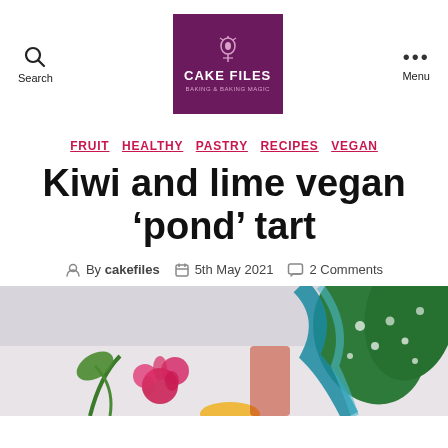Search | CAKE FILES | Menu
FRUIT  HEALTHY  PASTRY  RECIPES  VEGAN
Kiwi and lime vegan ‘pond’ tart
By cakefiles  5th May 2021  2 Comments
[Figure (photo): Bottom portion: a photo showing flowers (pink/magenta blooms), green spotted leaves, and colorful decorative elements on a light background]